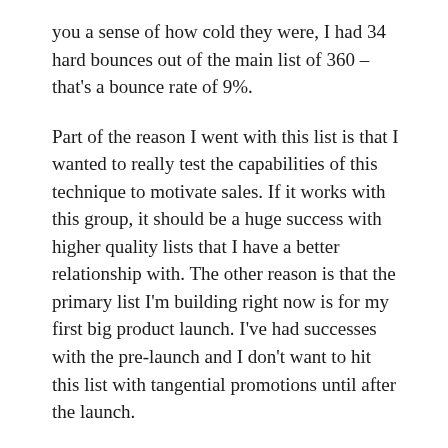you a sense of how cold they were, I had 34 hard bounces out of the main list of 360 – that's a bounce rate of 9%.
Part of the reason I went with this list is that I wanted to really test the capabilities of this technique to motivate sales. If it works with this group, it should be a huge success with higher quality lists that I have a better relationship with. The other reason is that the primary list I'm building right now is for my first big product launch. I've had successes with the pre-launch and I don't want to hit this list with tangential promotions until after the launch.